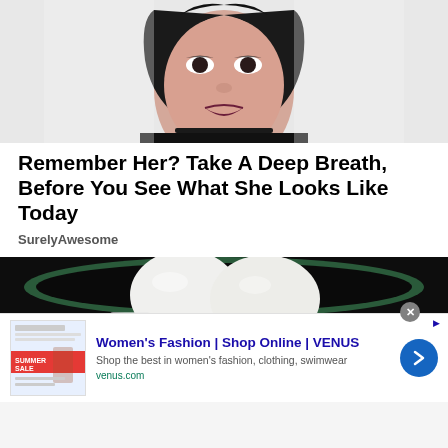[Figure (photo): Close-up portrait of a young woman with short black hair, dark eye makeup, dark lipstick, wearing a black choker necklace and black top, against a white background.]
Remember Her? Take A Deep Breath, Before You See What She Looks Like Today
SurelyAwesome
[Figure (photo): Close-up photo of peeled hard-boiled eggs in a dark green bowl against a black background.]
[Figure (screenshot): Advertisement banner for VENUS women's fashion. Title: Women's Fashion | Shop Online | VENUS. Subtitle: Shop the best in women's fashion, clothing, swimwear. URL: venus.com. Thumbnail shows a Summer Sale promotional image. Blue circular chevron button on the right.]